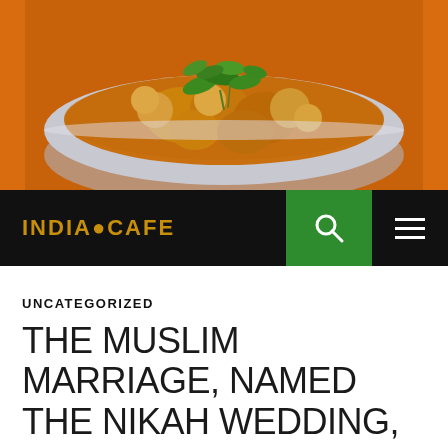[Figure (photo): Food photo showing a bowl of Indian curry or spiced potato dish garnished with fresh cilantro/coriander leaves, orange background visible]
INDIA•CAFE
UNCATEGORIZED
THE MUSLIM MARRIAGE, NAMED THE NIKAH WEDDING, THE MOST CELEBRATED PARTIES IN ISLAM BECAUSE WEDDING IS DEFINITELY A PROPHETIC TRADITIONS